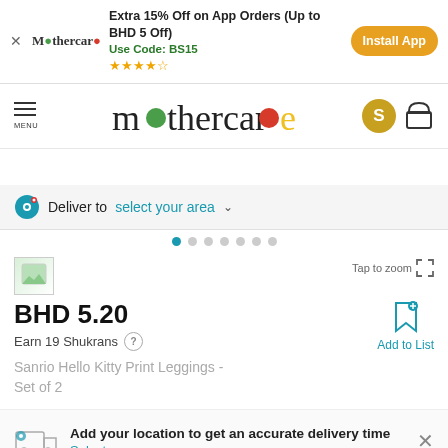Extra 15% Off on App Orders (Up to BHD 5 Off) — Use Code: BS15 — Install App
[Figure (screenshot): Mothercare website navigation bar with menu icon, Mothercare logo, user icon (S) and bag icon]
Deliver to select your area
[Figure (photo): Product image placeholder with tap to zoom icon]
BHD 5.20
Earn 19 Shukrans
Add to List
Sanrio Hello Kitty Print Leggings - Set of 2
Add your location to get an accurate delivery time
Select your area
1-2 YRS  2-3 YRS  4-5 YRS